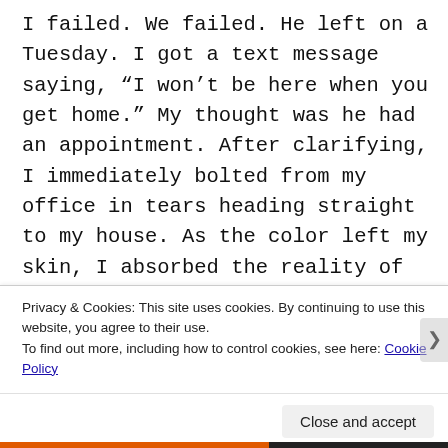I failed. We failed. He left on a Tuesday. I got a text message saying, “I won’t be here when you get home.” My thought was he had an appointment. After clarifying, I immediately bolted from my office in tears heading straight to my house. As the color left my skin, I absorbed the reality of what was happening. It felt like every dream I had with him was being thrown with haste into those suitcases. I begged. I cried. I fell apart. I watched him back out of the drive way. I watched the gate close. And that was it. Three hours later I walked to
Privacy & Cookies: This site uses cookies. By continuing to use this website, you agree to their use.
To find out more, including how to control cookies, see here: Cookie Policy
Close and accept